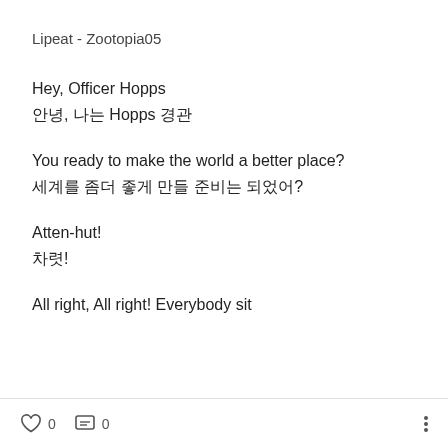Lipeat - Zootopia05
Hey, Officer Hopps
안녕, 나는 Hopps 경관
You ready to make the world a better place?
세계를 좀더 좋게 만들 준비는 되었어?
Atten-hut!
차렷!
All right, All right! Everybody sit
♡ 0   💬 0